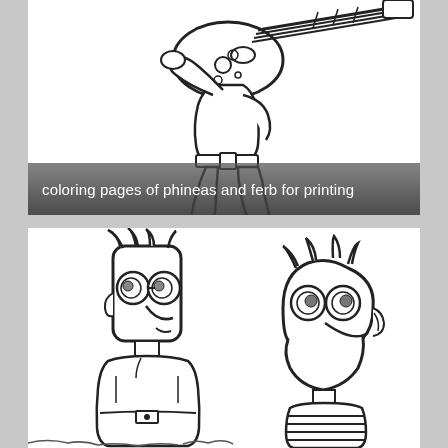[Figure (illustration): Black and white coloring page line art of a cartoon character (Phineas from Phineas and Ferb) playing an electric guitar, shown from mid-body down, wearing sandals and striped socks, in a rock pose]
coloring pages of phineas and ferb for printing
[Figure (illustration): Black and white coloring page line art of two cartoon characters from Phineas and Ferb (Ferb on left, Phineas on right) facing each other, shown from roughly waist up, both with distinctive head shapes, glasses, and spiky hair]